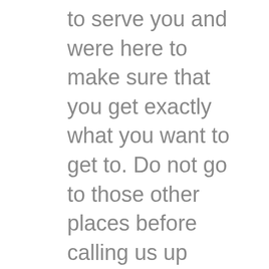to serve you and were here to make sure that you get exactly what you want to get to. Do not go to those other places before calling us up today. We are going to be amazing with the police what we can do for you, so when the time comes to really take a look at all you need to go ahead and call us and let us begin this journey let us show you we can do to really help you out today and get started with us
This something it could be the way to go in your wanting to really take a look at everything. All you need do is call us and